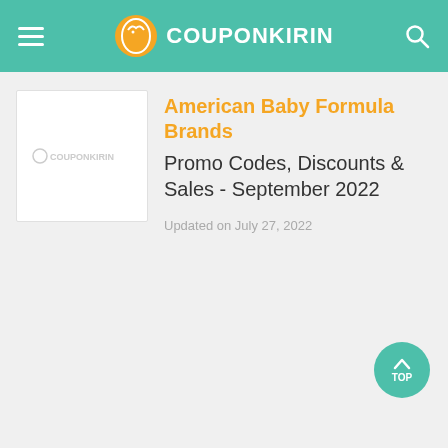CouponKirin
[Figure (logo): CouponKirin logo placeholder image with text COUPONKIRIN]
American Baby Formula Brands Promo Codes, Discounts & Sales - September 2022
Updated on July 27, 2022